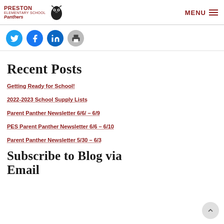PRESTON ELEMENTARY SCHOOL Panthers — MENU
[Figure (illustration): Social sharing buttons: Twitter (blue), Facebook (blue), LinkedIn (blue), Print (gray)]
Recent Posts
Getting Ready for School!
2022-2023 School Supply Lists
Parent Panther Newsletter 6/6/ – 6/9
PES Parent Panther Newsletter 6/6 – 6/10
Parent Panther Newsletter 5/30 – 6/3
Subscribe to Blog via Email